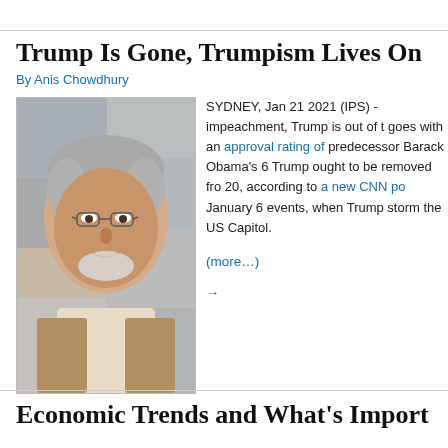Trump Is Gone, Trumpism Lives On
By Anis Chowdhury
[Figure (photo): Portrait photo of Anis Chowdhury, a middle-aged South Asian man with gray hair and beard, wearing glasses and a tan blazer, with photos visible in the background.]
SYDNEY, Jan 21 2021 (IPS) - impeachment, Trump is out of t goes with an approval rating of predecessor Barack Obama's 6 Trump ought to be removed fro 20, according to a new CNN po January 6 events, when Trump storm the US Capitol.
(more…)
→
Economic Trends and What's Import